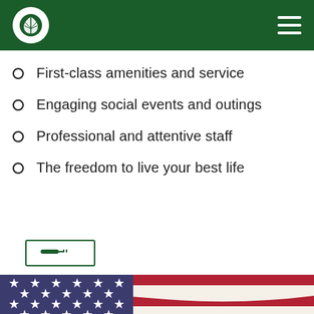Navigation header with logo and hamburger menu
First-class amenities and service
Engaging social events and outings
Professional and attentive staff
The freedom to live your best life
[Figure (other): Green bordered button with a key/bed icon inside]
[Figure (photo): Close-up photograph of an American flag showing stars and stripes, with a partial green circle at the bottom]